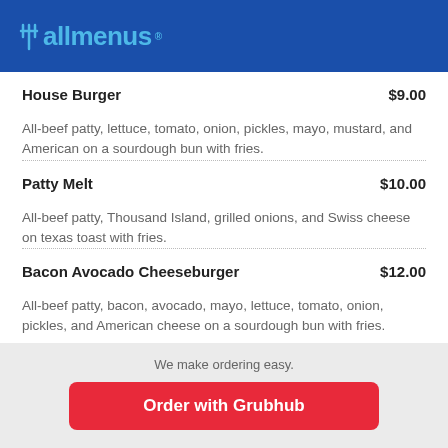allmenus
House Burger $9.00
All-beef patty, lettuce, tomato, onion, pickles, mayo, mustard, and American on a sourdough bun with fries.
Patty Melt $10.00
All-beef patty, Thousand Island, grilled onions, and Swiss cheese on texas toast with fries.
Bacon Avocado Cheeseburger $12.00
All-beef patty, bacon, avocado, mayo, lettuce, tomato, onion, pickles, and American cheese on a sourdough bun with fries.
We make ordering easy.
Order with Grubhub